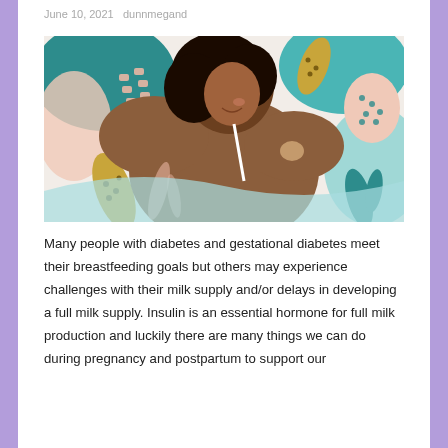June 10, 2021   dunnmegand
[Figure (illustration): Colorful illustration of a dark-skinned woman breastfeeding a baby, surrounded by abstract floral and leaf shapes in teal, pink, gold, and light blue on a warm background.]
Many people with diabetes and gestational diabetes meet their breastfeeding goals but others may experience challenges with their milk supply and/or delays in developing a full milk supply. Insulin is an essential hormone for full milk production and luckily there are many things we can do during pregnancy and postpartum to support our